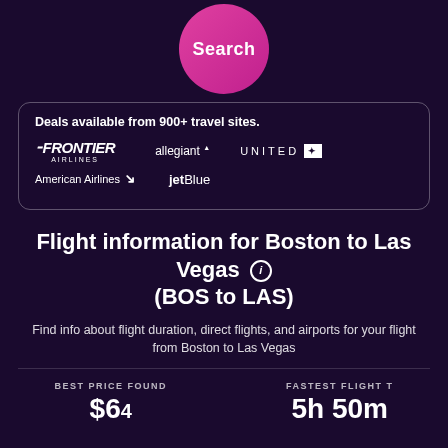[Figure (illustration): Pink/magenta circular Search button]
Deals available from 900+ travel sites.
[Figure (logo): Frontier Airlines logo]
[Figure (logo): Allegiant logo]
[Figure (logo): United Airlines logo]
[Figure (logo): American Airlines logo]
[Figure (logo): JetBlue logo]
Flight information for Boston to Las Vegas (BOS to LAS)
Find info about flight duration, direct flights, and airports for your flight from Boston to Las Vegas
BEST PRICE FOUND
$6
FASTEST FLIGHT T
5h 50m